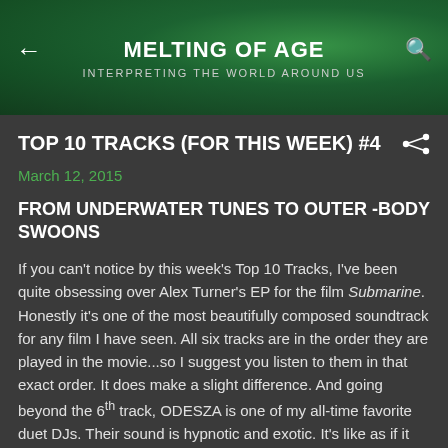MELTING OF AGE — INTERPRETING THE WORLD AROUND US
TOP 10 TRACKS (FOR THIS WEEK) #4
March 12, 2015
FROM UNDERWATER TUNES TO OUTER -BODY SWOONS
If you can't notice by this week's Top 10 Tracks, I've been quite obsessing over Alex Turner's EP for the film Submarine. Honestly it's one of the most beautifully composed soundtrack for any film I have seen. All six tracks are in the order they are played in the movie...so I suggest you listen to them in that exact order. It does make a slight difference. And going beyond the 6th track, ODESZA is one of my all-time favorite duet DJs. Their sound is hypnotic and exotic. It's like as if it